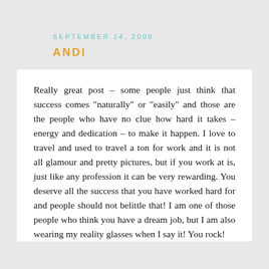SEPTEMBER 14, 2009
ANDI
Really great post – some people just think that success comes "naturally" or "easily" and those are the people who have no clue how hard it takes – energy and dedication – to make it happen. I love to travel and used to travel a ton for work and it is not all glamour and pretty pictures, but if you work at is, just like any profession it can be very rewarding. You deserve all the success that you have worked hard for and people should not belittle that! I am one of those people who think you have a dream job, but I am also wearing my reality glasses when I say it! You rock!